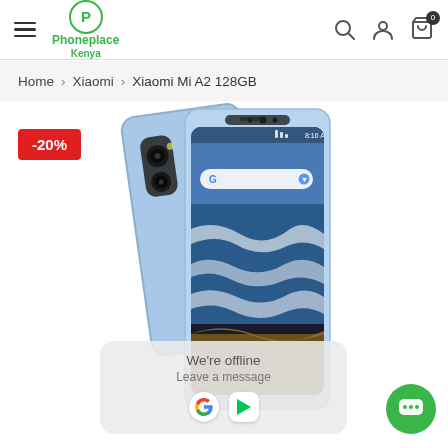Phoneplace Kenya — navigation header with hamburger menu, logo, search, account, and cart icons
Home > Xiaomi > Xiaomi Mi A2 128GB
[Figure (photo): Xiaomi Mi A2 128GB smartphone in blue color shown from front and back angles. The phone displays a beach/ocean wallpaper on screen. A red discount badge showing -20% is overlaid on the top-left. A chat widget popup at the bottom reads 'We're offline. Leave a message' with app icons and a green chat button.]